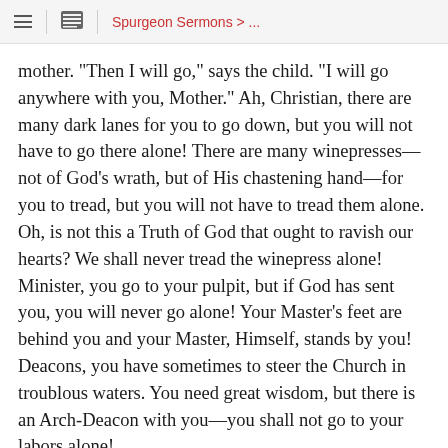Spurgeon Sermons > ...
mother. "Then I will go," says the child. "I will go anywhere with you, Mother." Ah, Christian, there are many dark lanes for you to go down, but you will not have to go there alone! There are many winepresses—not of God's wrath, but of His chastening hand—for you to tread, but you will not have to tread them alone. Oh, is not this a Truth of God that ought to ravish our hearts? We shall never tread the winepress alone! Minister, you go to your pulpit, but if God has sent you, you will never go alone! Your Master's feet are behind you and your Master, Himself, stands by you! Deacons, you have sometimes to steer the Church in troublous waters. You need great wisdom, but there is an Arch-Deacon with you—you shall not go to your labors alone!